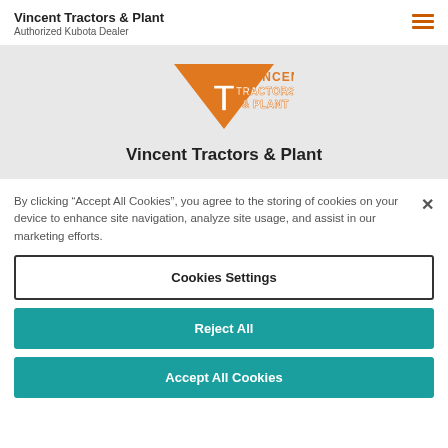Vincent Tractors & Plant
Authorized Kubota Dealer
[Figure (logo): Vincent Tractors & Plant logo with orange V-shape and T emblem, white outlined text]
Vincent Tractors & Plant
By clicking "Accept All Cookies", you agree to the storing of cookies on your device to enhance site navigation, analyze site usage, and assist in our marketing efforts.
Cookies Settings
Reject All
Accept All Cookies